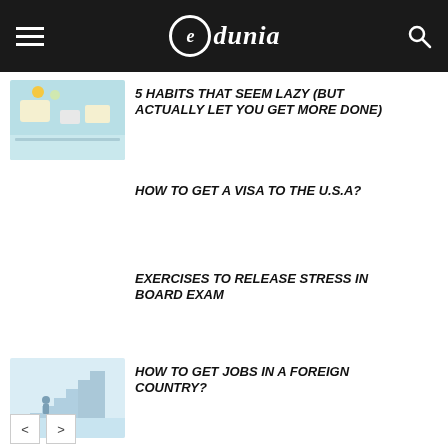Edunia
5 HABITS THAT SEEM LAZY (BUT ACTUALLY LET YOU GET MORE DONE)
[Figure (illustration): Thumbnail image with productivity/time management illustration in blue-green tones]
HOW TO GET A VISA TO THE U.S.A?
EXERCISES TO RELEASE STRESS IN BOARD EXAM
HOW TO GET JOBS IN A FOREIGN COUNTRY?
[Figure (illustration): Thumbnail image of a person walking up stairs in a minimalist blue and white illustration]
< >